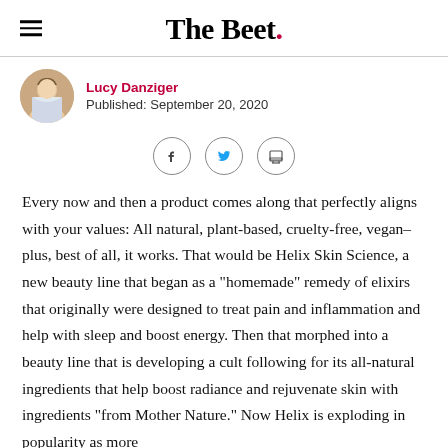The Beet.
Lucy Danziger
Published: September 20, 2020
[Figure (other): Social share icons: Facebook, Twitter, Print]
Every now and then a product comes along that perfectly aligns with your values: All natural, plant-based, cruelty-free, vegan–plus, best of all, it works. That would be Helix Skin Science, a new beauty line that began as a "homemade" remedy of elixirs that originally were designed to treat pain and inflammation and help with sleep and boost energy. Then that morphed into a beauty line that is developing a cult following for its all-natural ingredients that help boost radiance and rejuvenate skin with ingredients "from Mother Nature." Now Helix is exploding in popularity as more